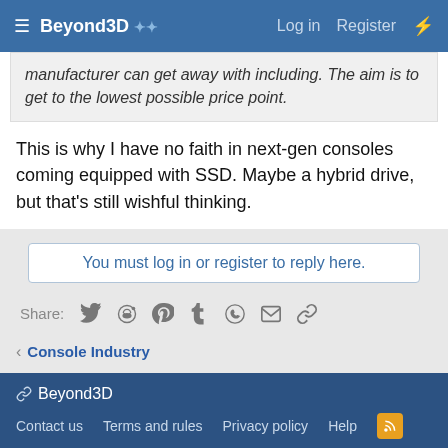Beyond3D  Log in  Register
manufacturer can get away with including. The aim is to get to the lowest possible price point.
This is why I have no faith in next-gen consoles coming equipped with SSD. Maybe a hybrid drive, but that's still wishful thinking.
You must log in or register to reply here.
Share:
< Console Industry
Beyond3D  Contact us  Terms and rules  Privacy policy  Help  Community platform by XenForo® © 2010-2022 XenForo Ltd.